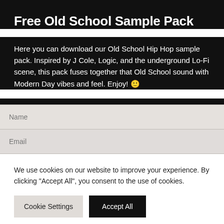Free Old School Sample Pack
Here you can download our Old School Hip Hop sample pack. Inspired by J Cole, Logic, and the underground Lo-Fi scene, this pack fuses together that Old School sound with Modern Day vibes and feel. Enjoy! 🙂
Name
Email
We use cookies on our website to improve your experience. By clicking "Accept All", you consent to the use of cookies.
Cookie Settings
Accept All